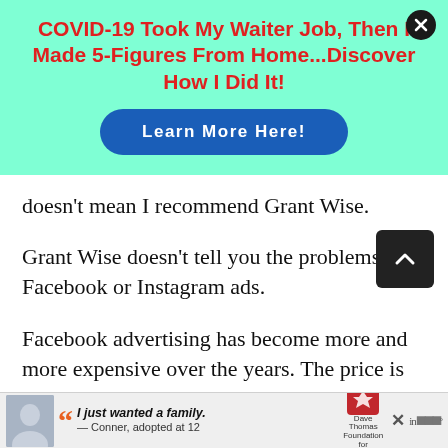[Figure (infographic): Teal/mint background advertisement banner with a close (X) button in the top right corner. Red bold headline text: 'COVID-19 Took My Waiter Job, Then I Made 5-Figures From Home...Discover How I Did It!' with a blue rounded button labeled 'Learn More Here!']
doesn’t mean I recommend Grant Wise.
Grant Wise doesn’t tell you the problems with Facebook or Instagram ads.
Facebook advertising has become more and more expensive over the years. The price is on
[Figure (infographic): Bottom advertisement banner for Dave Thomas Foundation for Adoption. Shows a boy photo, quote icon, text 'I just wanted a family. — Conner, adopted at 12', logo for Dave Thomas Foundation for Adoption, a close (X) button, and sponsor indicator dots.]